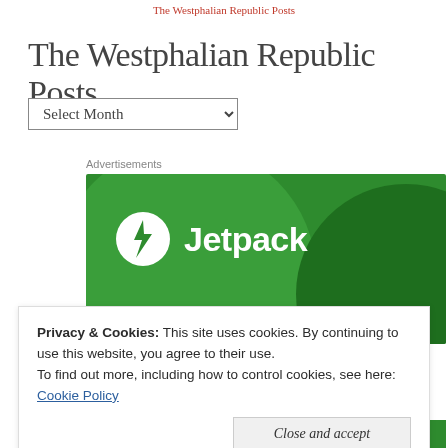The Westphalian Republic Posts
The Westphalian Republic Posts
Select Month
Advertisements
[Figure (logo): Jetpack advertisement banner with green background, circular logo with lightning bolt, and bold white 'Jetpack' text]
Privacy & Cookies: This site uses cookies. By continuing to use this website, you agree to their use.
To find out more, including how to control cookies, see here:
Cookie Policy
Close and accept